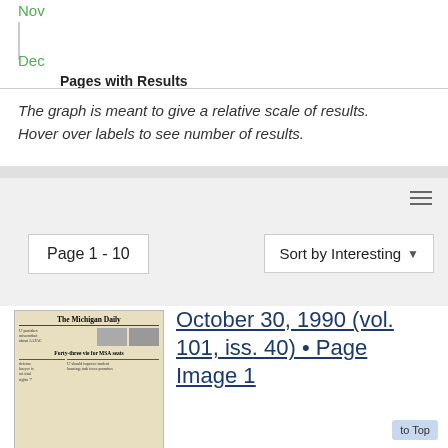[Figure (other): Partial bar chart showing months Nov and Dec with vertical bar axis and x-axis label 'Pages with Results']
The graph is meant to give a relative scale of results. Hover over labels to see number of results.
[Figure (screenshot): Web UI toolbar with hamburger menu icon on right side]
Page 1 - 10
Sort by Interesting
[Figure (photo): Thumbnail of The Michigan Daily newspaper front page]
October 30, 1990 (vol. 101, iss. 40) • Page Image 1